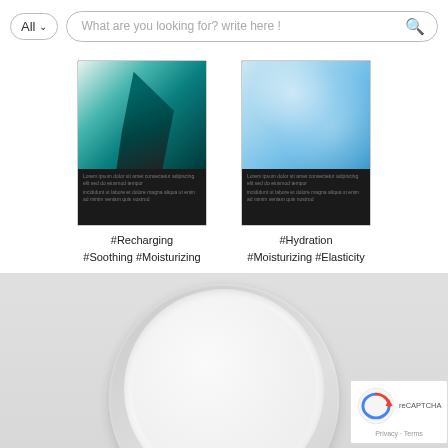[Figure (screenshot): Search bar with 'All' dropdown button and search input placeholder text 'What are you looking for? write here !']
[Figure (photo): Product card with teal/dark liquid splash image on top, dark text area below]
#Recharging #Soothing #Moisturizing
[Figure (photo): Product card with aqua blue water bubbles image on top, dark text area below]
#Hydration #Moisturizing #Elasticity
[Figure (photo): Close-up photo of a white cream jar lid from above, on a light gray background]
[Figure (other): reCAPTCHA badge with logo and Privacy - Terms text]